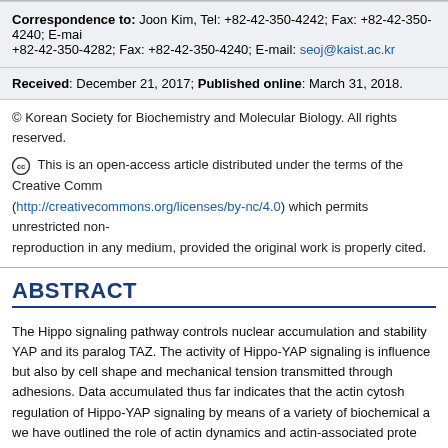Correspondence to: Joon Kim, Tel: +82-42-350-4242; Fax: +82-42-350-4240; E-mail: +82-42-350-4282; Fax: +82-42-350-4240; E-mail: seoj@kaist.ac.kr
Received: December 21, 2017; Published online: March 31, 2018.
© Korean Society for Biochemistry and Molecular Biology. All rights reserved.
This is an open-access article distributed under the terms of the Creative Commons (http://creativecommons.org/licenses/by-nc/4.0) which permits unrestricted non- reproduction in any medium, provided the original work is properly cited.
ABSTRACT
The Hippo signaling pathway controls nuclear accumulation and stability of YAP and its paralog TAZ. The activity of Hippo-YAP signaling is influenced but also by cell shape and mechanical tension transmitted through adhesions. Data accumulated thus far indicates that the actin cytosk regulation of Hippo-YAP signaling by means of a variety of biochemical a we have outlined the role of actin dynamics and actin-associated prote signaling. In addition, we discuss actin-mediated regulation of YAP/TA Hippo kinases MST and LATS. Although our understanding of the link be actin cytoskeleton is progressing rapidly, many open questions remain.